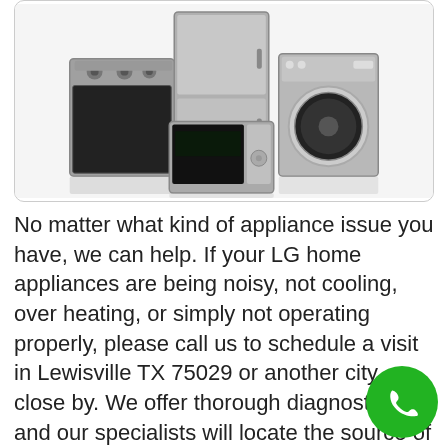[Figure (photo): Photo of home appliances: stove/range, refrigerator, washing machine, and microwave in stainless steel finish, arranged together on a white background inside a rounded-corner box.]
No matter what kind of appliance issue you have, we can help. If your LG home appliances are being noisy, not cooling, over heating, or simply not operating properly, please call us to schedule a visit in Lewisville TX 75029 or another city close by. We offer thorough diagnostics, and our specialists will locate the source of the issue, repair it, and make certain your appliances are running just like new. Once we establish contact, we can setup an appointment so we can fix your LG appliance as